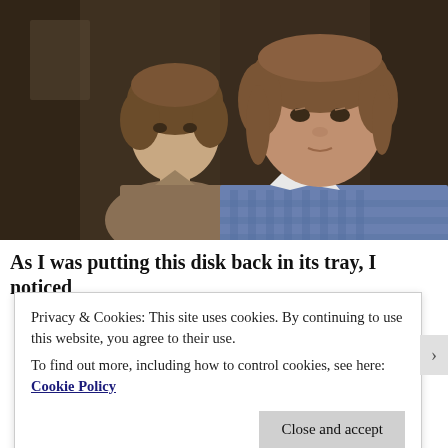[Figure (photo): Two young men from the 1970s era. The man in the foreground wears a blue and white gingham/checkered shirt with a wide collar, has medium-length brown hair. A second man stands behind him wearing a tan/brown shirt, also with medium-length hair. Background is dark and indistinct.]
As I was putting this disk back in its tray, I noticed
Privacy & Cookies: This site uses cookies. By continuing to use this website, you agree to their use.
To find out more, including how to control cookies, see here: Cookie Policy